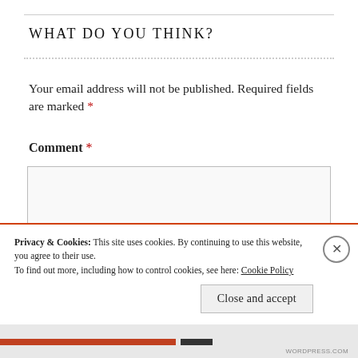WHAT DO YOU THINK?
Your email address will not be published. Required fields are marked *
Comment *
Privacy & Cookies: This site uses cookies. By continuing to use this website, you agree to their use.
To find out more, including how to control cookies, see here: Cookie Policy
Close and accept